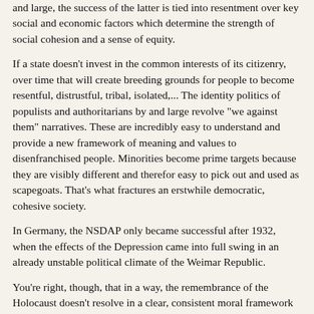and large, the success of the latter is tied into resentment over key social and economic factors which determine the strength of social cohesion and a sense of equity.
If a state doesn't invest in the common interests of its citizenry, over time that will create breeding grounds for people to become resentful, distrustful, tribal, isolated,... The identity politics of populists and authoritarians by and large revolve "we against them" narratives. These are incredibly easy to understand and provide a new framework of meaning and values to disenfranchised people. Minorities become prime targets because they are visibly different and therefor easy to pick out and used as scapegoats. That's what fractures an erstwhile democratic, cohesive society.
In Germany, the NSDAP only became successful after 1932, when the effects of the Depression came into full swing in an already unstable political climate of the Weimar Republic.
You're right, though, that in a way, the remembrance of the Holocaust doesn't resolve in a clear, consistent moral framework of principles. Just think about how restitution of property and real estate is still a hotly debated topic today. The crux is that questions regarding historic responsibility and guilt and how to approach them are always framed into a backdrop of present day economical and political concerns and interests. And that's just collective behavior that can be changed with an easy silver bullet fix.
> Unfortunately I think part of the popularity of these stone